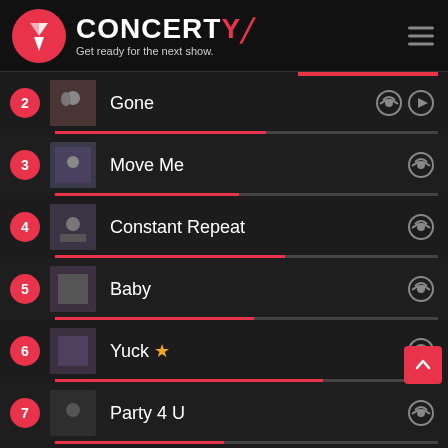[Figure (logo): Concerty app logo with red circle icon and text 'CONCERTY - Get ready for the next show.']
2 Gone
3 Move Me
4 Constant Repeat
5 Baby
6 Yuck ★
7 Party 4 U
8 Used To Know Me ★